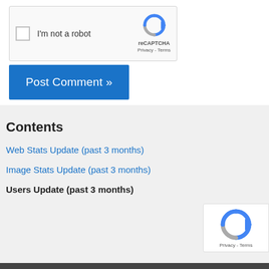[Figure (screenshot): reCAPTCHA widget with checkbox labeled 'I'm not a robot' and reCAPTCHA logo with Privacy and Terms links]
Post Comment »
Contents
Web Stats Update (past 3 months)
Image Stats Update (past 3 months)
Users Update (past 3 months)
[Figure (screenshot): reCAPTCHA corner widget with logo and Privacy - Terms text]